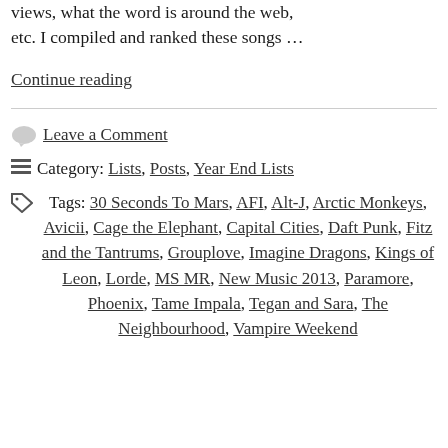views, what the word is around the web, etc. I compiled and ranked these songs …
Continue reading
Leave a Comment
Category: Lists, Posts, Year End Lists
Tags: 30 Seconds To Mars, AFI, Alt-J, Arctic Monkeys, Avicii, Cage the Elephant, Capital Cities, Daft Punk, Fitz and the Tantrums, Grouplove, Imagine Dragons, Kings of Leon, Lorde, MS MR, New Music 2013, Paramore, Phoenix, Tame Impala, Tegan and Sara, The Neighbourhood, Vampire Weekend